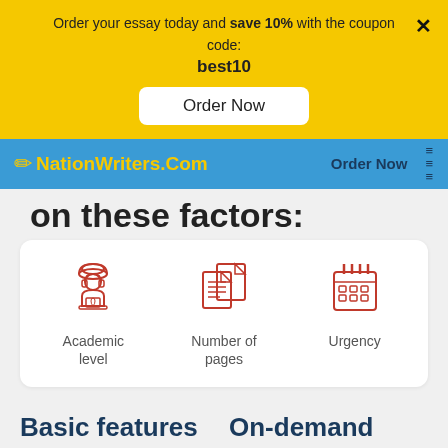Order your essay today and save 10% with the coupon code: best10
Order Now
NationWriters.Com  Order Now  ≡
on these factors:
[Figure (illustration): Three red icons: a graduate with laptop (Academic level), stacked pages (Number of pages), and a calendar (Urgency)]
Academic level
Number of pages
Urgency
Basic features
On-demand